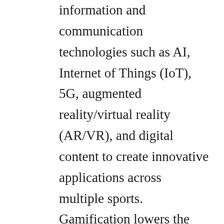information and communication technologies such as AI, Internet of Things (IoT), 5G, augmented reality/virtual reality (AR/VR), and digital content to create innovative applications across multiple sports. Gamification lowers the barriers to entry as it helps get people motivated, especially those who have no exercise habits. To allow more people around the world to get in touch with Taiwan's e-sports technology, the Industrial Development Bureau (IDB) of Taiwan's Ministry of Economic Affairs (MoEA) has aligned with the central government policy to foster the e-sports industry ecosystem. Starting in 2020, it has collaborated with the Sports Administration of the Ministry of Education, and the National Taiwan Sport University to organize the so-called